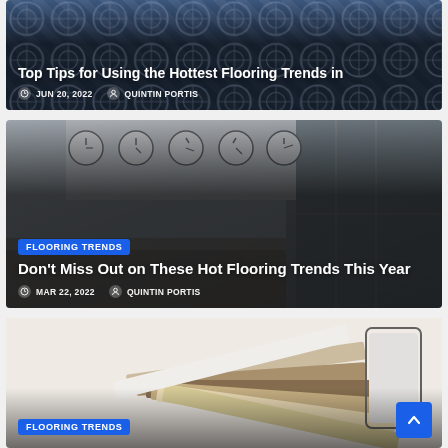[Figure (photo): Article card 1: Blue decorative tile background with article title 'Top Tips for Using the Hottest Flooring Trends in', date Jun 20, 2022, author Quintin Portis]
[Figure (photo): Article card 2: Office with world clocks on wall background. Category badge 'FLOORING TRENDS'. Title 'Don't Miss Out on These Hot Flooring Trends This Year'. Date Mar 22, 2022. Author Quintin Portis.]
[Figure (photo): Article card 3 (partial): Flooring sample swatches background. Category badge 'FLOORING TRENDS'. Scroll-to-top blue button at bottom right.]